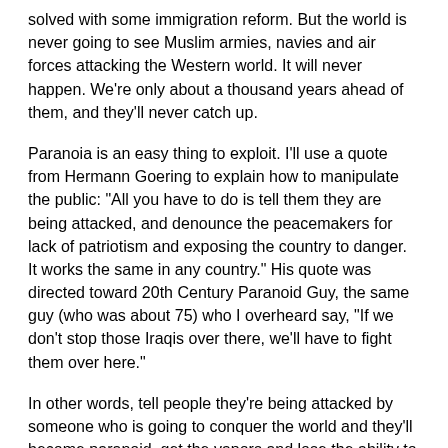solved with some immigration reform.  But the world is never going to see Muslim armies, navies and air forces attacking the Western world.  It will never happen.  We're only about a thousand years ahead of them, and they'll never catch up.
Paranoia is an easy thing to exploit.  I'll use a quote from Hermann Goering to explain how to manipulate the public: "All you have to do is tell them they are being attacked, and denounce the peacemakers for lack of patriotism and exposing the country to danger.  It works the same in any country."  His quote was directed toward 20th Century Paranoid Guy, the same guy (who was about 75) who I overheard say, "If we don't stop those Iraqis over there, we'll have to fight them over here."
In other words, tell people they're being attacked by someone who is going to conquer the world and they'll become paranoid, get the vapors and lose the ability to think rationally.  That's why I get letters telling me if Charles Lindbergh was President today, Islam would take over the world.
Talk about an alternate history fantasy.